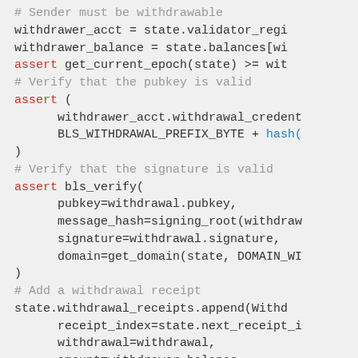[Figure (screenshot): Code snippet in Python showing withdrawal validation logic: checking sender is withdrawable, verifying pubkey, verifying signature with bls_verify, adding a withdrawal receipt, and transferring funds.]